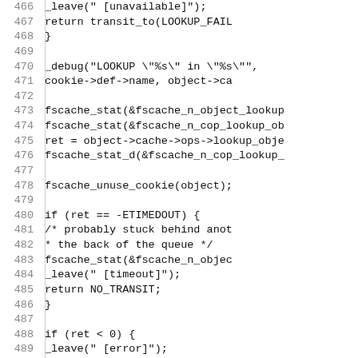[Figure (screenshot): Source code listing in monospace font showing C code lines 466-495, with line numbers on the left and code on the right. The code shows function calls like _leave, return transit_to, _debug, fscache_stat, fscache_unuse_cookie, and conditional blocks with if statements.]